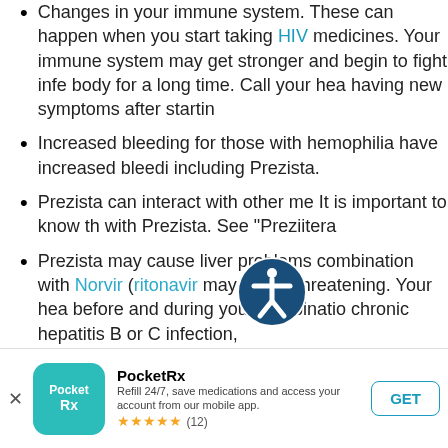Changes in your immune system. These can happen when you start taking HIV medicines. Your immune system may get stronger and begin to fight infections that have been hidden in your body for a long time. Call your healthcare provider if you are having new symptoms after starting your HIV medicines.
Increased bleeding for those with hemophilia. Some people with hemophilia have increased bleeding when taking protease inhibitors, including Prezista.
Prezista can interact with other medicines. It is important to know the medicines that should not be taken with Prezista. See "Prezista interactions".
Prezista may cause liver problems. Prezista is used in combination with Norvir (ritonavir). Liver problems may be life-threatening. Your healthcare provider will do blood tests before and during your combination therapy. If you have chronic hepatitis B or C infection, your healthcare provider should do blood tests more often.
PocketRx — Refill 24/7, save medications and access your account from our mobile app. ★★★★★ (12)